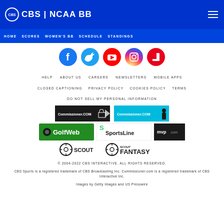CBS | NCAA BB
HOME  SCORES  WOMEN'S BB  SCHEDULE  STANDINGS
[Figure (illustration): Social media icons: Facebook, Twitter, YouTube, Instagram, Flipboard]
HELP  ABOUT US  CAREERS  NEWSLETTERS  MOBILE APPS
CLOSED CAPTIONING  PRIVACY POLICY  COOKIES POLICY  TERMS
DO NOT SELL MY PERSONAL INFORMATION
[Figure (logo): Commissioner.com logos (black and blue versions), GolfWeb, SportsLine, mvp.com, Scout, Scout Fantasy partner logos]
© 2004-2022 CBS INTERACTIVE. ALL RIGHTS RESERVED.
CBS Sports is a registered trademark of CBS Broadcasting Inc. Commissioner.com is a registered trademark of CBS Interactive Inc.
Images by Getty Images and US Presswire